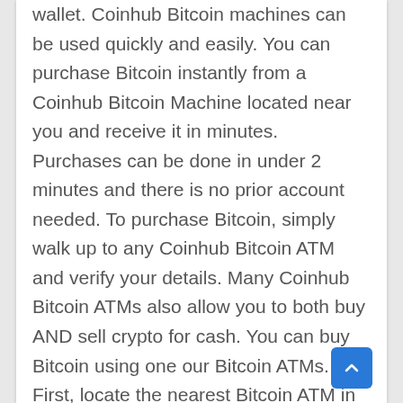wallet. Coinhub Bitcoin machines can be used quickly and easily. You can purchase Bitcoin instantly from a Coinhub Bitcoin Machine located near you and receive it in minutes. Purchases can be done in under 2 minutes and there is no prior account needed. To purchase Bitcoin, simply walk up to any Coinhub Bitcoin ATM and verify your details. Many Coinhub Bitcoin ATMs also allow you to both buy AND sell crypto for cash. You can buy Bitcoin using one our Bitcoin ATMs. First, locate the nearest Bitcoin ATM in your area by visiting our Coinhub Bitcoin ATM Locator. Enter your phone number and walk up to the machine. You will then verify your phone with a code and scan your bitcoin wallet. Enter each bill one at a time to determine the amount you wish to purchase. After that, confirm the purchase by entering the bitcoin atm. Bitcoin is then instantly sent to your wallet. The daily buying limit is $25,000. We have Bitcoin Machines